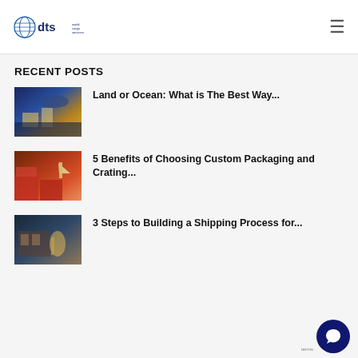dts world cargo services
RECENT POSTS
[Figure (photo): Harbor/port aerial view at dusk with city lights and water]
Land or Ocean: What is The Best Way...
[Figure (photo): Worker in yellow vest standing on top of red cargo containers]
5 Benefits of Choosing Custom Packaging and Crating...
[Figure (photo): Worker with hard hat in a warehouse/industrial setting]
3 Steps to Building a Shipping Process for...